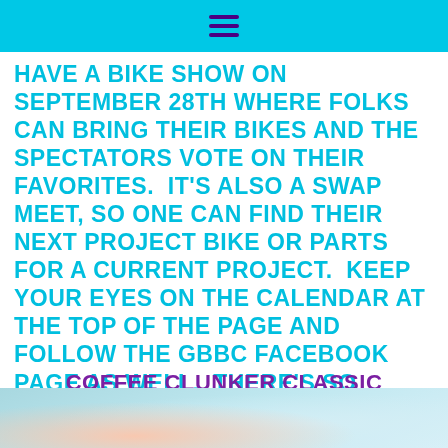≡
HAVE A BIKE SHOW ON SEPTEMBER 28TH WHERE FOLKS CAN BRING THEIR BIKES AND THE SPECTATORS VOTE ON THEIR FAVORITES.  IT'S ALSO A SWAP MEET, SO ONE CAN FIND THEIR NEXT PROJECT BIKE OR PARTS FOR A CURRENT PROJECT.  KEEP YOUR EYES ON THE CALENDAR AT THE TOP OF THE PAGE AND FOLLOW THE GBBC FACEBOOK PAGE AS WELL.  THERE'S SO MUCH GOING ON AND NOW THAT THE WEATHER IS STARTING TO COOPERATE, THINGS ARE GOING TO HAPPEN PRETTY QUICKLY.  SO ON TO OUR NEXT RIDE...
COFFEE CLUNKER CLASSIC
[Figure (photo): Partial view of a bicycle or motorcycle, cropped at the bottom of the page, with blurred background in teal/peach tones]